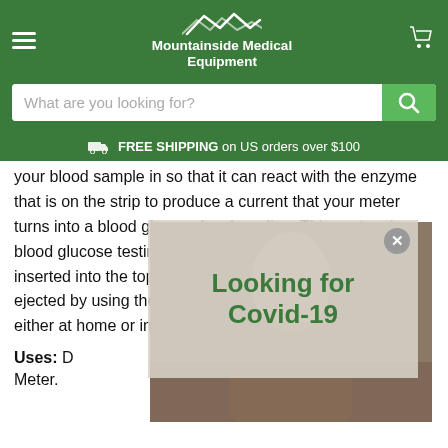Mountainside Medical Equipment
FREE SHIPPING on US orders over $100
your blood sample in so that it can react with the enzyme that is on the strip to produce a current that your meter turns into a blood glucose level reading. This system is blood glucose testing at its finest. The strip is easily inserted into the top of the meter, which can be safely ejected by using the strip eject button for safe handling either at home or in a busy he...
Uses: D... m Meter.
[Figure (screenshot): Popup overlay with text 'Looking for Covid-19' on semi-transparent background with close button, partially covering article text about blood glucose meter]
Ho...